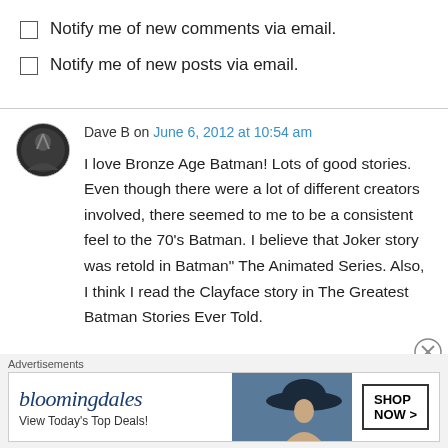Notify me of new comments via email.
Notify me of new posts via email.
Dave B on June 6, 2012 at 10:54 am
I love Bronze Age Batman! Lots of good stories. Even though there were a lot of different creators involved, there seemed to me to be a consistent feel to the 70’s Batman. I believe that Joker story was retold in Batman” The Animated Series. Also, I think I read the Clayface story in The Greatest Batman Stories Ever Told.
Advertisements
[Figure (other): Bloomingdale's advertisement banner: logo text 'bloomingdales', tagline 'View Today’s Top Deals!', image of woman in wide-brim hat, button 'SHOP NOW >']